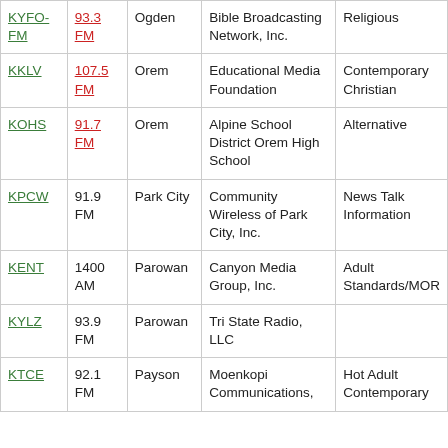| Call Sign | Frequency | City | Licensee | Format |
| --- | --- | --- | --- | --- |
| KYFO-FM | 93.3 FM | Ogden | Bible Broadcasting Network, Inc. | Religious |
| KKLV | 107.5 FM | Orem | Educational Media Foundation | Contemporary Christian |
| KOHS | 91.7 FM | Orem | Alpine School District Orem High School | Alternative |
| KPCW | 91.9 FM | Park City | Community Wireless of Park City, Inc. | News Talk Information |
| KENT | 1400 AM | Parowan | Canyon Media Group, Inc. | Adult Standards/MOR |
| KYLZ | 93.9 FM | Parowan | Tri State Radio, LLC |  |
| KTCE | 92.1 FM | Payson | Moenkopi Communications, | Hot Adult Contemporary |